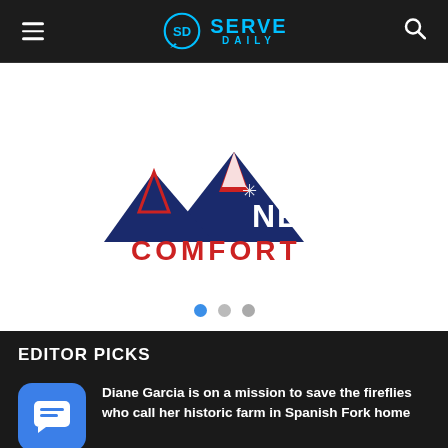SERVE DAILY
[Figure (logo): Nebo Comfort logo — mountain peaks in dark blue and red with snowflake, text NEBO in white and COMFORT in red below]
[Figure (other): Slider pagination dots — three circles, first blue (active), two grey]
EDITOR PICKS
[Figure (other): Blue rounded square chat bubble app icon]
Diane Garcia is on a mission to save the fireflies who call her historic farm in Spanish Fork home